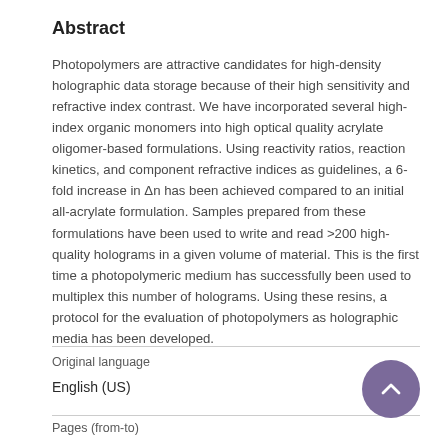Abstract
Photopolymers are attractive candidates for high-density holographic data storage because of their high sensitivity and refractive index contrast. We have incorporated several high-index organic monomers into high optical quality acrylate oligomer-based formulations. Using reactivity ratios, reaction kinetics, and component refractive indices as guidelines, a 6-fold increase in Δn has been achieved compared to an initial all-acrylate formulation. Samples prepared from these formulations have been used to write and read >200 high-quality holograms in a given volume of material. This is the first time a photopolymeric medium has successfully been used to multiplex this number of holograms. Using these resins, a protocol for the evaluation of photopolymers as holographic media has been developed.
Original language
English (US)
Pages (from-to)
347-354